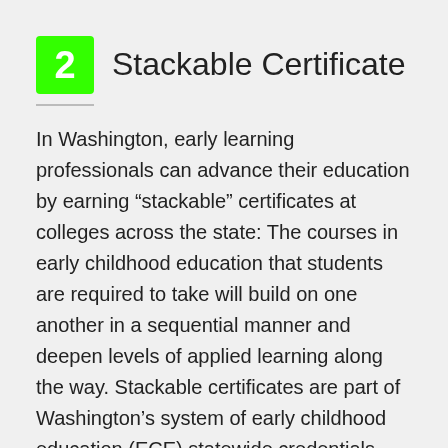2  Stackable Certificate
In Washington, early learning professionals can advance their education by earning “stackable” certificates at colleges across the state: The courses in early childhood education that students are required to take will build on one another in a sequential manner and deepen levels of applied learning along the way. Stackable certificates are part of Washington’s system of early childhood education (ECE) statewide credentials. Colleges across the state offer common courses, course titles, course numbers, course descriptions and student outcomes. All courses